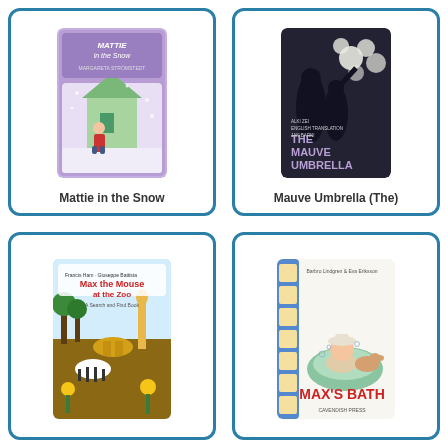[Figure (illustration): Book cover for 'Mattie in the Snow' showing a child in a red coat standing in snow outside a house, purple background with snowflakes]
Mattie in the Snow
[Figure (illustration): Book cover for 'The Mauve Umbrella' showing silhouettes of children against a dark background with white floral elements, text reads 'THE MAUVE UMBRELLA, ALKI ZEI, ENGLISH TRANSLATION JAN BARKI']
Mauve Umbrella (The)
[Figure (illustration): Book cover for 'Max the Mouse at the Zoo - A Search and Find Book' showing a colorful zoo scene with many animals]
[Figure (illustration): Book cover for 'Max's Bath' by Barbro Lindgren & Eva Eriksson, showing a baby in a tub with a dog, published by Cavendish Press]